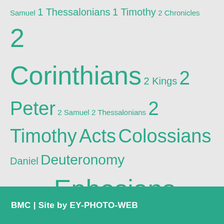[Figure (infographic): Tag cloud of Bible books with varying font sizes indicating frequency/importance. All text in teal/green color on light gray background. Books listed: Samuel, 1 Thessalonians, 1 Timothy, 2 Chronicles, 2 Corinthians, 2 Kings, 2 Peter, 2 Samuel, 2 Thessalonians, 2 Timothy, Acts, Colossians, Daniel, Deuteronomy, Ecclesiastes, Ephesians, Exodus, Ezekiel, Galatians, Genesis, Hebrews, Isaiah, James, Jeremiah, Job, John, Joshua, Judges, Leviticus, Luke, Malachi, Mark, Matthew, Nehemiah, Numbers, Philippians, Proverbs, Psalm, Revelation, Romans, Titus]
BMC | Site by EY-PHOTO-WEB